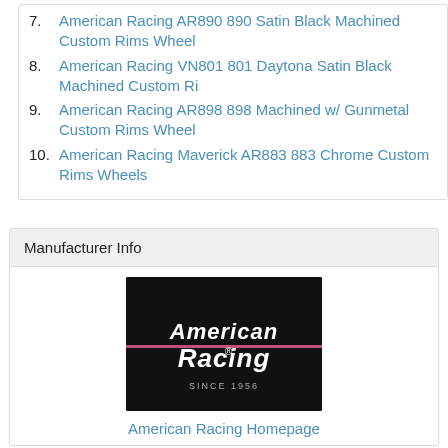7. American Racing AR890 890 Satin Black Machined Custom Rims Wheel
8. American Racing VN801 801 Daytona Satin Black Machined Custom Ri
9. American Racing AR898 898 Machined w/ Gunmetal Custom Rims Wheel
10. American Racing Maverick AR883 883 Chrome Custom Rims Wheels
Manufacturer Info
[Figure (logo): American Racing logo on black background with text 'American Racing Since 1956']
American Racing Homepage